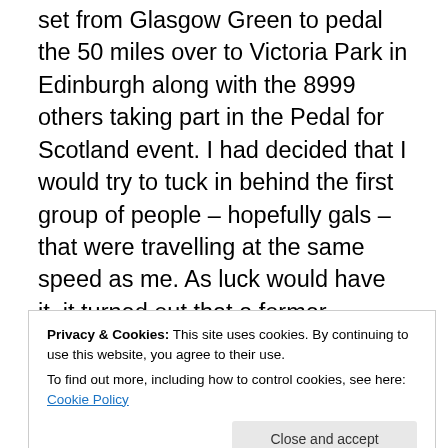set from Glasgow Green to pedal the 50 miles over to Victoria Park in Edinburgh along with the 8999 others taking part in the Pedal for Scotland event. I had decided that I would try to tuck in behind the first group of people – hopefully gals – that were travelling at the same speed as me. As luck would have it, it turned out that a former colleague of mine was in the group I attached myself to somewhere around Coatbridge, although I didn't actually realise it until we stopped in Edinburgh. We all came back together as well. Great outward run in warm sunshine, but the return was positively bloody for the most part as the
Privacy & Cookies: This site uses cookies. By continuing to use this website, you agree to their use.
To find out more, including how to control cookies, see here: Cookie Policy
because there were times on the return leg I was really